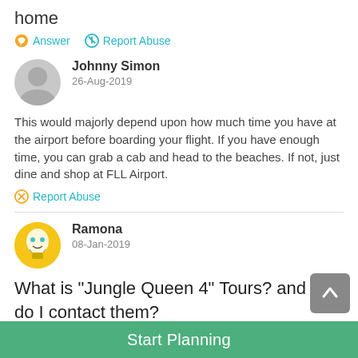home
Answer  Report Abuse
Johnny Simon
26-Aug-2019
This would majorly depend upon how much time you have at the airport before boarding your flight. If you have enough time, you can grab a cab and head to the beaches. If not, just dine and shop at FLL Airport.
Report Abuse
Ramona
08-Jan-2019
What is "Jungle Queen 4" Tours? and how do I contact them?
Answer  Report Abuse
Felicity Lawrence
Start Planning